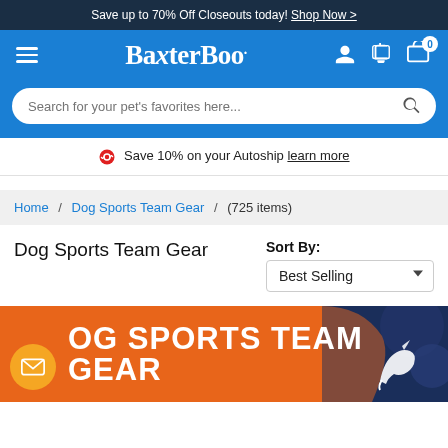Save up to 70% Off Closeouts today! Shop Now >
[Figure (screenshot): BaxterBoo navigation bar with hamburger menu, logo, user icon, and cart icon showing 0 items]
[Figure (screenshot): Search bar with placeholder text: Search for your pet's favorites here...]
Save 10% on your Autoship learn more
Home / Dog Sports Team Gear / (725 items)
Dog Sports Team Gear
Sort By: Best Selling
[Figure (illustration): Orange banner with email icon button and text DOG SPORTS TEAM GEAR with a Broncos-style horse logo on the right side on dark navy background]